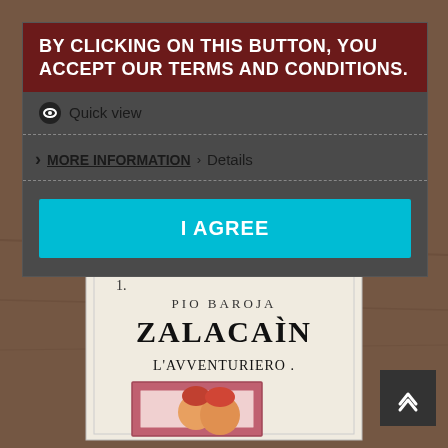[Figure (photo): Background showing a book with cover text 'PIO BAROJA ZALACAÌN L'AVVENTURIERO' on a wooden surface]
BY CLICKING ON THIS BUTTON, YOU ACCEPT OUR TERMS AND CONDITIONS.
Quick view
MORE INFORMATION  Details
I AGREE